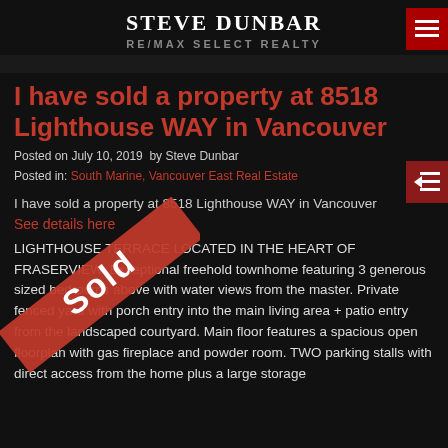STEVE DUNBAR
RE/MAX SELECT REALTY
I have sold a property at 8518 Lighthouse WAY in Vancouver
Posted on July 10, 2019  by Steve Dunbar
Posted in: South Marine, Vancouver East Real Estate
I have sold a property at 8518 Lighthouse WAY in Vancouver
See details here
LIGHTHOUSE TERRACE LOCATED IN THE HEART OF FRASERVIEW. Exceptional freehold townhome featuring 3 generous sized bedrooms above with water views from the master. Private fenced yard with porch entry into the main living area + patio entry from the landscaped courtyard. Main floor features a spacious open floorplan with gas fireplace and powder room. TWO parking stalls with direct access from the home plus a large storage
[Figure (illustration): Red diagonal 'Sold' banner/stamp overlaid on lower-left portion of page]